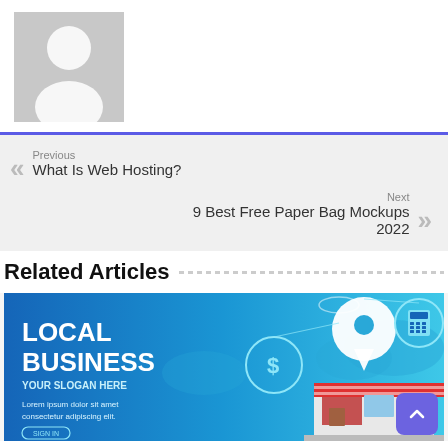[Figure (photo): Default avatar placeholder image — gray silhouette of a person on light gray background]
Previous
What Is Web Hosting?
Next
9 Best Free Paper Bag Mockups 2022
Related Articles
[Figure (illustration): Local Business promotional banner with blue gradient background showing location pin, dollar sign, calculator icons, a storefront with red and white awning. Text reads: LOCAL BUSINESS YOUR SLOGAN HERE, Lorem ipsum dolor sit amet consectetur adipiscing elit.]